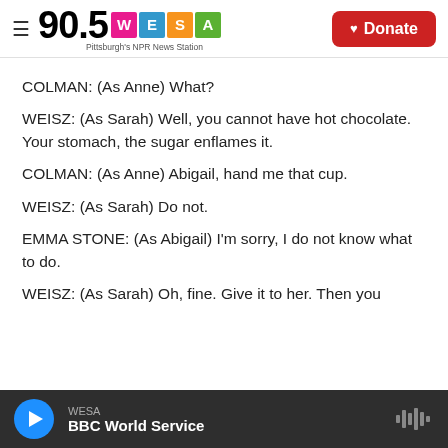90.5 WESA – Pittsburgh's NPR News Station | Donate
COLMAN: (As Anne) What?
WEISZ: (As Sarah) Well, you cannot have hot chocolate. Your stomach, the sugar enflames it.
COLMAN: (As Anne) Abigail, hand me that cup.
WEISZ: (As Sarah) Do not.
EMMA STONE: (As Abigail) I'm sorry, I do not know what to do.
WEISZ: (As Sarah) Oh, fine. Give it to her. Then you
WESA – BBC World Service